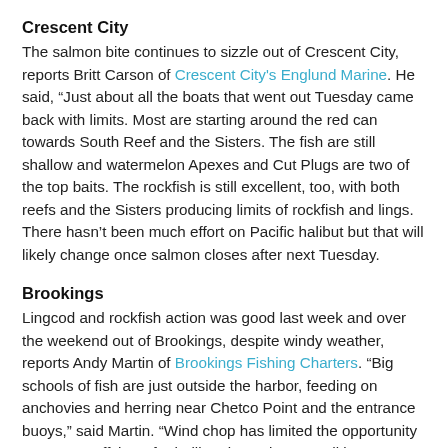Crescent City
The salmon bite continues to sizzle out of Crescent City, reports Britt Carson of Crescent City's Englund Marine. He said, “Just about all the boats that went out Tuesday came back with limits. Most are starting around the red can towards South Reef and the Sisters. The fish are still shallow and watermelon Apexes and Cut Plugs are two of the top baits. The rockfish is still excellent, too, with both reefs and the Sisters producing limits of rockfish and lings. There hasn’t been much effort on Pacific halibut but that will likely change once salmon closes after next Tuesday.
Brookings
Lingcod and rockfish action was good last week and over the weekend out of Brookings, despite windy weather, reports Andy Martin of Brookings Fishing Charters. “Big schools of fish are just outside the harbor, feeding on anchovies and herring near Chetco Point and the entrance buoys,” said Martin. “Wind chop has limited the opportunity to venture offshore for halibut, but calmer conditions are expected later this week. Salmon season opens June 18 for hatchery coho and June 25 for kings.”